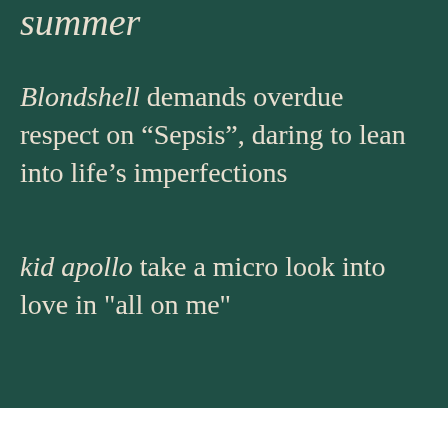summer
Blondshell demands overdue respect on “Sepsis”, daring to lean into life’s imperfections
kid apollo take a micro look into love in "all on me"